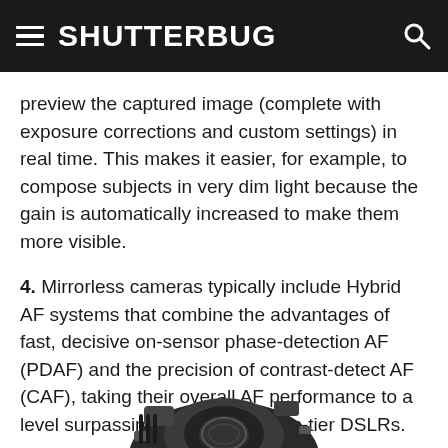SHUTTERBUG
preview the captured image (complete with exposure corrections and custom settings) in real time. This makes it easier, for example, to compose subjects in very dim light because the gain is automatically increased to make them more visible.
4. Mirrorless cameras typically include Hybrid AF systems that combine the advantages of fast, decisive on-sensor phase-detection AF (PDAF) and the precision of contrast-detect AF (CAF), taking their overall AF performance to a level surpassing that of all but top-tier DSLRs.
[Figure (photo): Bottom portion of a camera body, partially visible, black and white photo]